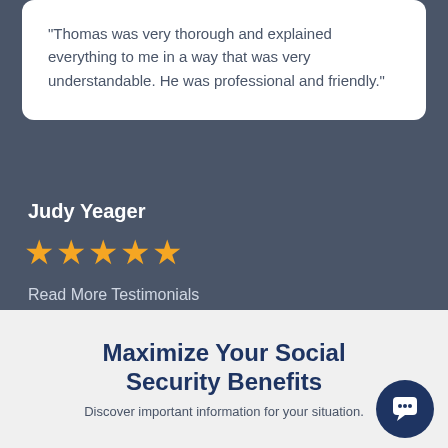“Thomas was very thorough and explained everything to me in a way that was very understandable. He was professional and friendly.”
Judy Yeager
[Figure (illustration): Five gold/yellow star rating icons]
Read More Testimonials
Maximize Your Social Security Benefits
Discover important information for your situation.